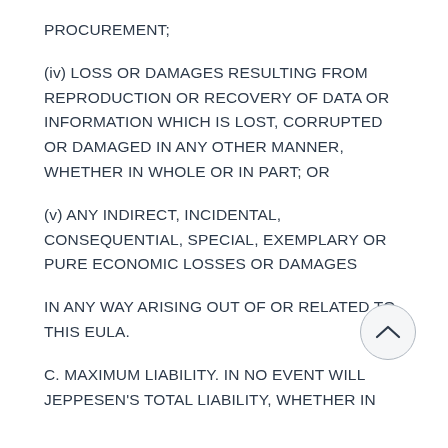PROCUREMENT;
(iv) LOSS OR DAMAGES RESULTING FROM REPRODUCTION OR RECOVERY OF DATA OR INFORMATION WHICH IS LOST, CORRUPTED OR DAMAGED IN ANY OTHER MANNER, WHETHER IN WHOLE OR IN PART; OR
(v) ANY INDIRECT, INCIDENTAL, CONSEQUENTIAL, SPECIAL, EXEMPLARY OR PURE ECONOMIC LOSSES OR DAMAGES
IN ANY WAY ARISING OUT OF OR RELATED TO THIS EULA.
C. MAXIMUM LIABILITY. IN NO EVENT WILL JEPPESEN'S TOTAL LIABILITY, WHETHER IN